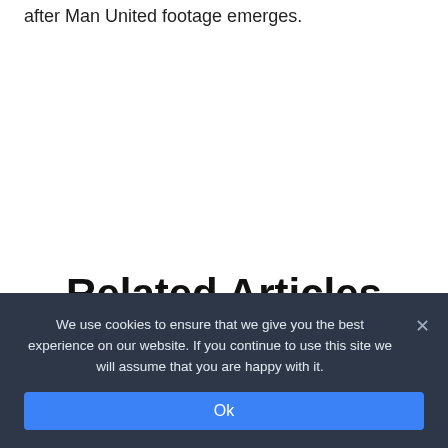after Man United footage emerges.
Related Articles
We use cookies to ensure that we give you the best experience on our website. If you continue to use this site we will assume that you are happy with it.